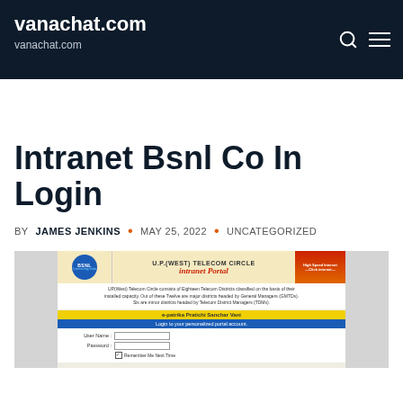vanachat.com
vanachat.com
Intranet Bsnl Co In Login
BY JAMES JENKINS • MAY 25, 2022 • UNCATEGORIZED
[Figure (screenshot): Screenshot of BSNL U.P.(West) Telecom Circle Intranet Portal login page showing BSNL logo, portal header, e-patrika Pratichi Sanchar Vani section, and login fields for User Name and Password with Remember Me Next Time checkbox]